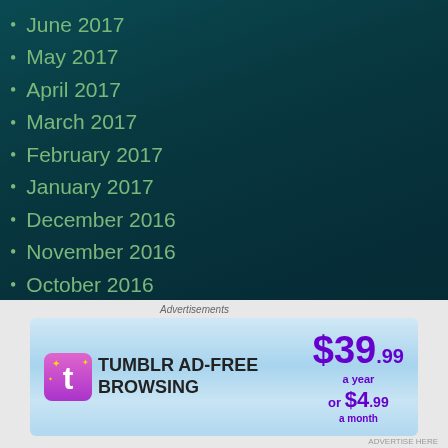June 2017
May 2017
April 2017
March 2017
February 2017
January 2017
December 2016
November 2016
October 2016
September 2016
August 2016
July 2016
June 2016
[Figure (illustration): Tumblr AD-FREE BROWSING advertisement banner: $39.99 a year or $4.99 a month]